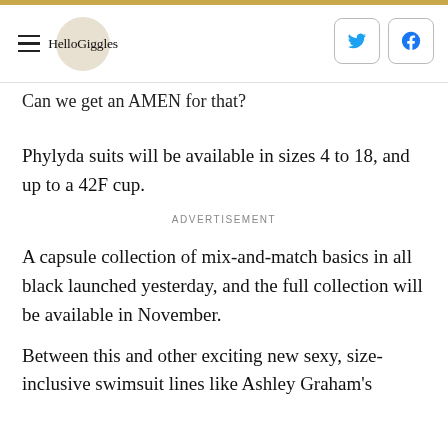HelloGiggles
Can we get an AMEN for that?
Phylyda suits will be available in sizes 4 to 18, and up to a 42F cup.
ADVERTISEMENT
A capsule collection of mix-and-match basics in all black launched yesterday, and the full collection will be available in November.
Between this and other exciting new sexy, size-inclusive swimsuit lines like Ashley Graham's